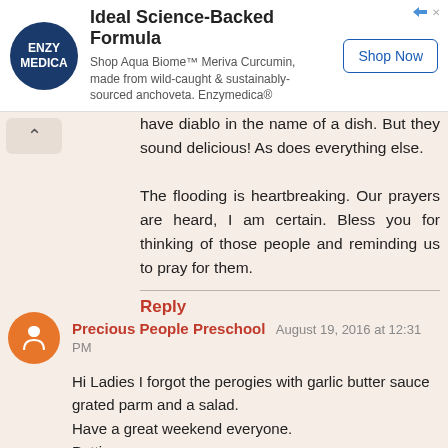[Figure (other): Enzymedica advertisement banner: logo (ENZY MEDICA on dark blue circle), headline 'Ideal Science-Backed Formula', body 'Shop Aqua Biome™ Meriva Curcumin, made from wild-caught & sustainably-sourced anchoveta. Enzymedica®', and a 'Shop Now' button.]
have diablo in the name of a dish. But they sound delicious! As does everything else.

The flooding is heartbreaking. Our prayers are heard, I am certain. Bless you for thinking of those people and reminding us to pray for them.
Reply
Precious People Preschool  August 19, 2016 at 12:31 PM
Hi Ladies I forgot the perogies with garlic butter sauce grated parm and a salad.
Have a great weekend everyone.
Patti
Reply